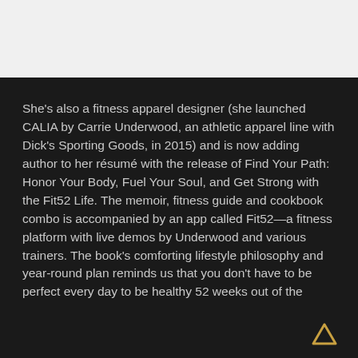She's also a fitness apparel designer (she launched CALIA by Carrie Underwood, an athletic apparel line with Dick's Sporting Goods, in 2015) and is now adding author to her résumé with the release of Find Your Path: Honor Your Body, Fuel Your Soul, and Get Strong with the Fit52 Life. The memoir, fitness guide and cookbook combo is accompanied by an app called Fit52—a fitness platform with live demos by Underwood and various trainers. The book's comforting lifestyle philosophy and year-round plan reminds us that you don't have to be perfect every day to be healthy 52 weeks out of the